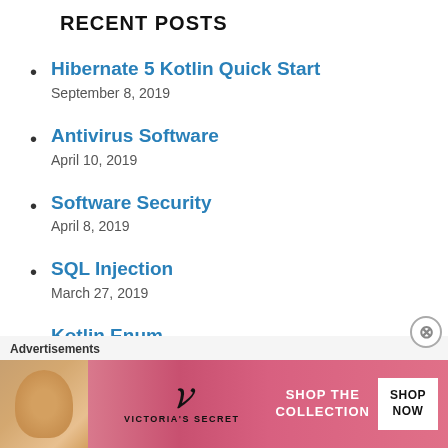RECENT POSTS
Hibernate 5 Kotlin Quick Start
September 8, 2019
Antivirus Software
April 10, 2019
Software Security
April 8, 2019
SQL Injection
March 27, 2019
Kotlin Enum
June 7, 2018
Advertisements
[Figure (photo): Victoria's Secret advertisement banner with model and 'SHOP THE COLLECTION SHOP NOW' text]